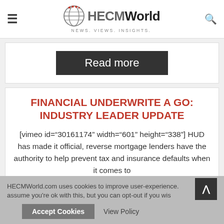HECMWorld — NEWS. VIEWS. INSIGHTS.
Read more
FINANCIAL UNDERWRITE A GO: INDUSTRY LEADER UPDATE
[vimeo id="30161174" width="601" height="338"] HUD has made it official, reverse mortgage lenders have the authority to help prevent tax and insurance defaults when it comes to
HECMWorld.com uses cookies to improve user-experience. assume you're ok with this, but you can opt-out if you wis
Accept Cookies
View Policy